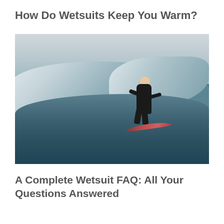How Do Wetsuits Keep You Warm?
[Figure (photo): A surfer wearing a black wetsuit rides a large ocean wave in foggy, overcast conditions. The surfer is crouched on the surfboard, navigating the breaking wave.]
A Complete Wetsuit FAQ: All Your Questions Answered